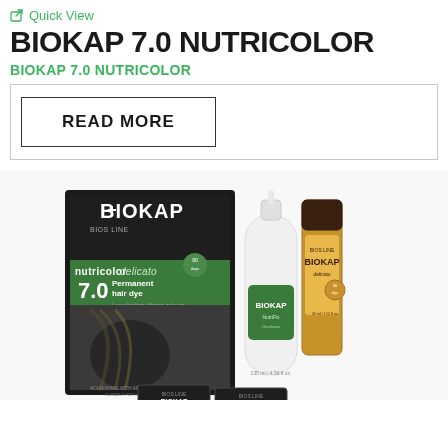Quick View
BIOKAP 7.0 NUTRICOLOR
BIOKAP 7.0 NUTRICOLOR
READ MORE
[Figure (photo): BioKap 7.0 Nutricolor Delicato hair dye product set showing box, developer bottle, color tube, and sachet packets on white background]